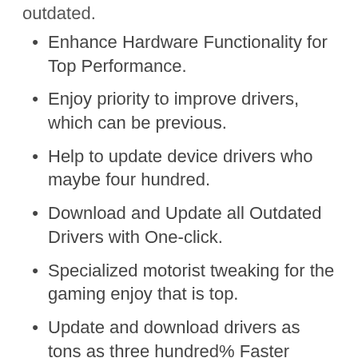outdated.
Enhance Hardware Functionality for Top Performance.
Enjoy priority to improve drivers, which can be previous.
Help to update device drivers who maybe four hundred.
Download and Update all Outdated Drivers with One-click.
Specialized motorist tweaking for the gaming enjoy that is top.
Update and download drivers as tons as three hundred% Faster
It enhances the performance this preferred of PC for gaming too.
Also, database optimizer for enhancing the compatibility of drivers.
It updates itself closer to the variation that is